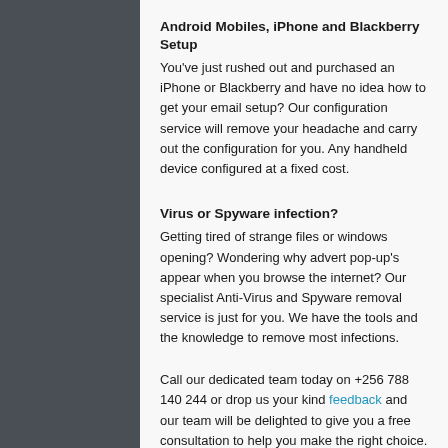Android Mobiles, iPhone and Blackberry Setup
You've just rushed out and purchased an iPhone or Blackberry and have no idea how to get your email setup? Our configuration service will remove your headache and carry out the configuration for you. Any handheld device configured at a fixed cost.
Virus or Spyware infection?
Getting tired of strange files or windows opening? Wondering why advert pop-up's appear when you browse the internet? Our specialist Anti-Virus and Spyware removal service is just for you. We have the tools and the knowledge to remove most infections.
Call our dedicated team today on +256 788 140 244 or drop us your kind feedback and our team will be delighted to give you a free consultation to help you make the right choice.